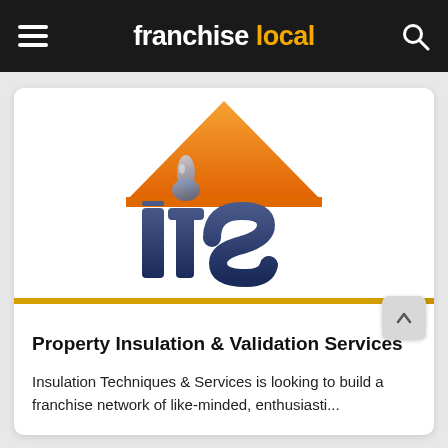franchise local
[Figure (logo): ITS (Insulation Techniques & Services) logo: orange house/roof shape with a blue water drop, and large blue 'its' lettering below]
Property Insulation & Validation Services
Insulation Techniques & Services is looking to build a franchise network of like-minded, enthusiasti...